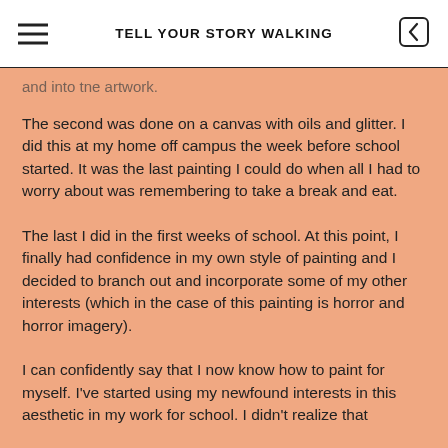TELL YOUR STORY WALKING
The second was done on a canvas with oils and glitter. I did this at my home off campus the week before school started. It was the last painting I could do when all I had to worry about was remembering to take a break and eat.
The last I did in the first weeks of school. At this point, I finally had confidence in my own style of painting and I decided to branch out and incorporate some of my other interests (which in the case of this painting is horror and horror imagery).
I can confidently say that I now know how to paint for myself. I've started using my newfound interests in this aesthetic in my work for school. I didn't realize that